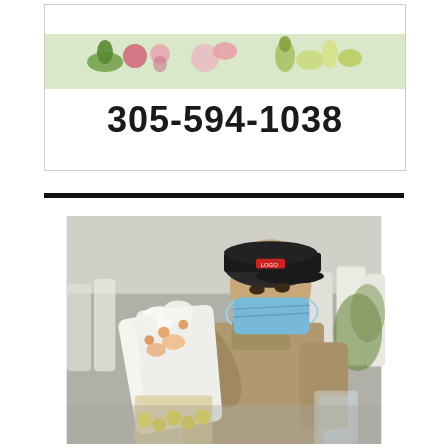[Figure (logo): Floral business logo with decorative flowers and vegetables above the phone number 305-594-1038]
305-594-1038
[Figure (photo): A man wearing a black cap and blue surgical face mask, dressed in a tan/khaki long-sleeve shirt, leaning over and handling wrapped bouquets of white and orange flowers at what appears to be a flower market or wholesale floral distribution facility. Multiple wrapped flower bunches are visible in the background.]